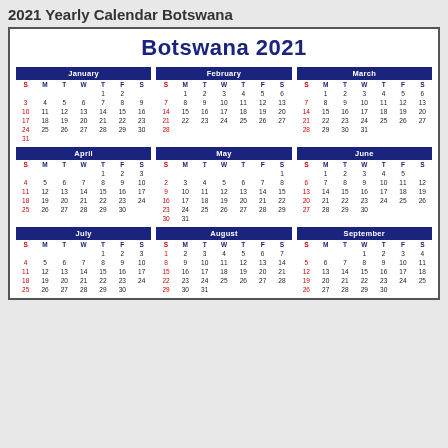2021 Yearly Calendar Botswana
| S | M | T | W | T | F | S |
| --- | --- | --- | --- | --- | --- | --- |
|  |  |  |  | 1 | 2 |  |
| 3 | 4 | 5 | 6 | 7 | 8 | 9 |
| 10 | 11 | 12 | 13 | 14 | 15 | 16 |
| 17 | 18 | 19 | 20 | 21 | 22 | 23 |
| 24 | 25 | 26 | 27 | 28 | 29 | 30 |
| 31 |  |  |  |  |  |  |
| S | M | T | W | T | F | S |
| --- | --- | --- | --- | --- | --- | --- |
|  | 1 | 2 | 3 | 4 | 5 | 6 |
| 7 | 8 | 9 | 10 | 11 | 12 | 13 |
| 14 | 15 | 16 | 17 | 18 | 19 | 20 |
| 21 | 22 | 23 | 24 | 25 | 26 | 27 |
| 28 |  |  |  |  |  |  |
| S | M | T | W | T | F | S |
| --- | --- | --- | --- | --- | --- | --- |
|  | 1 | 2 | 3 | 4 | 5 | 6 |
| 7 | 8 | 9 | 10 | 11 | 12 | 13 |
| 14 | 15 | 16 | 17 | 18 | 19 | 20 |
| 21 | 22 | 23 | 24 | 25 | 26 | 27 |
| 28 | 29 | 30 | 31 |  |  |  |